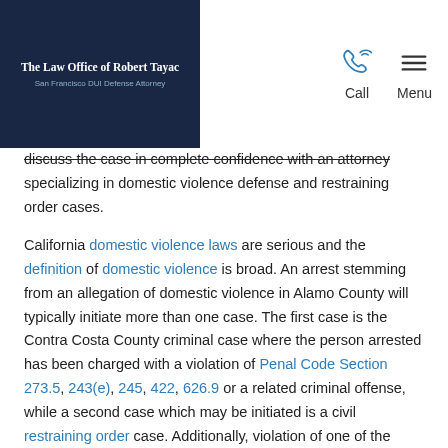The Law Office of Robert Tayac | San Francisco DUI Defense Attorney | Call | Menu
discuss the case in complete confidence with an attorney specializing in domestic violence defense and restraining order cases.

California domestic violence laws are serious and the definition of domestic violence is broad. An arrest stemming from an allegation of domestic violence in Alamo County will typically initiate more than one case. The first case is the Contra Costa County criminal case where the person arrested has been charged with a violation of Penal Code Section 273.5, 243(e), 245, 422, 626.9 or a related criminal offense, while a second case which may be initiated is a civil restraining order case. Additionally, violation of one of the many restraining orders that are issued in domestic violence